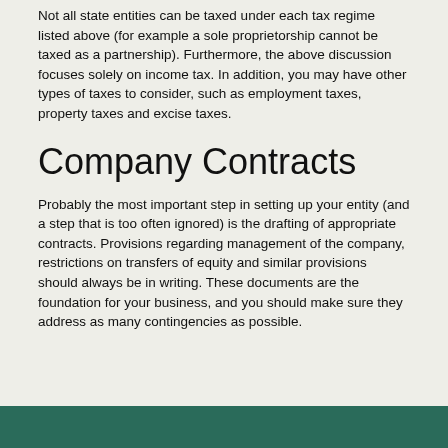Not all state entities can be taxed under each tax regime listed above (for example a sole proprietorship cannot be taxed as a partnership). Furthermore, the above discussion focuses solely on income tax. In addition, you may have other types of taxes to consider, such as employment taxes, property taxes and excise taxes.
Company Contracts
Probably the most important step in setting up your entity (and a step that is too often ignored) is the drafting of appropriate contracts. Provisions regarding management of the company, restrictions on transfers of equity and similar provisions should always be in writing. These documents are the foundation for your business, and you should make sure they address as many contingencies as possible.